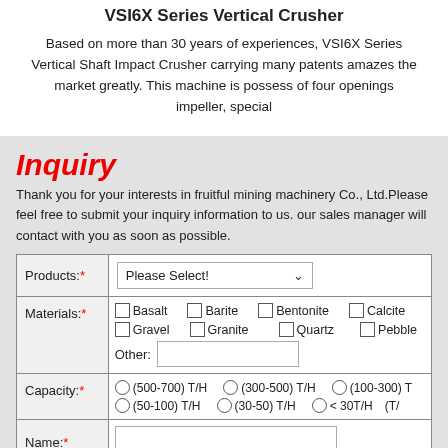VSI6X Series Vertical Crusher
Based on more than 30 years of experiences, VSI6X Series Vertical Shaft Impact Crusher carrying many patents amazes the market greatly. This machine is possess of four openings impeller, special
Inquiry
Thank you for your interests in fruitful mining machinery Co., Ltd.Please feel free to submit your inquiry information to us. our sales manager will contact with you as soon as possible.
| Field | Input |
| --- | --- |
| Products:* | Please Select! [dropdown] |
| Materials:* | ☐ Basalt  ☐ Barite  ☐ Bentonite  ☐ Calcite
☐ Gravel  ☐ Granite  ☐ Quartz  ☐ Pebble
Other: [text input] |
| Capacity:* | ○ (500-700) T/H  ○ (300-500) T/H  ○ (100-300) T
○ (50-100) T/H  ○ (30-50) T/H  ○ < 30T/H  (T/ |
| Name:* | [text input] |